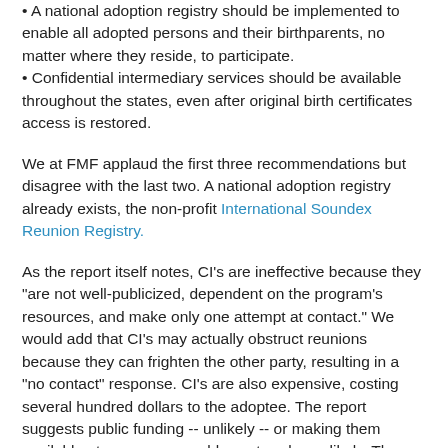• A national adoption registry should be implemented to enable all adopted persons and their birthparents, no matter where they reside, to participate.
• Confidential intermediary services should be available throughout the states, even after original birth certificates access is restored.
We at FMF applaud the first three recommendations but disagree with the last two. A national adoption registry already exists, the non-profit International Soundex Reunion Registry.
As the report itself notes, CI’s are ineffective because they “are not well-publicized, dependent on the program’s resources, and make only one attempt at contact.” We would add that CI’s may actually obstruct reunions because they can frighten the other party, resulting in a “no contact” response. CI’s are also expensive, costing several hundred dollars to the adoptee. The report suggests public funding -- unlikely -- or making them available at a very reasonable cost -- also unlikely. The best way is for the adoptee to screw